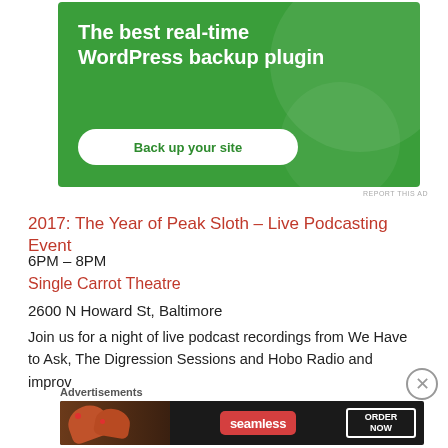[Figure (infographic): Green advertisement banner for WordPress backup plugin with text 'The best real-time WordPress backup plugin' and a white button 'Back up your site']
REPORT THIS AD
2017: The Year of Peak Sloth – Live Podcasting Event
6PM – 8PM
Single Carrot Theatre
2600 N Howard St, Baltimore
Join us for a night of live podcast recordings from We Have to Ask, The Digression Sessions and Hobo Radio and improv
Advertisements
[Figure (infographic): Seamless food delivery advertisement showing pizza slices with Seamless logo and 'ORDER NOW' button]